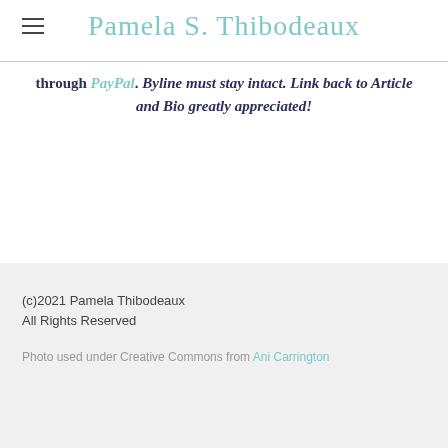Pamela S. Thibodeaux
through PayPal. Byline must stay intact. Link back to Article and Bio greatly appreciated!
(c)2021 Pamela Thibodeaux
All Rights Reserved

Photo used under Creative Commons from Ani Carrington